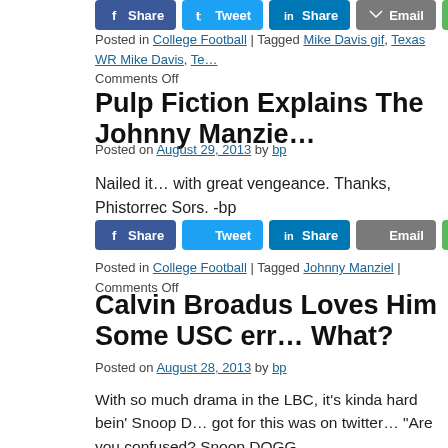[Figure (other): Social share buttons row: Facebook Share, Twitter Tweet, LinkedIn Share, Email, Share, Pinterest Pin]
Posted in College Football | Tagged Mike Davis gif, Texas WR Mike Davis, Te… Comments Off
Pulp Fiction Explains The Johnny Manzie…
Posted on August 29, 2013 by bp
Nailed it… with great vengeance. Thanks, Phistorrec Sors. -bp
[Figure (other): Social share buttons row: Facebook Share, Twitter Tweet, LinkedIn Share, Email, Share, Pinterest Pin]
Posted in College Football | Tagged Johnny Manziel | Comments Off
Calvin Broadus Loves Him Some USC err… What?
Posted on August 28, 2013 by bp
With so much drama in the LBC, it's kinda hard bein' Snoop D… got for this was on twitter… "Are you confused? Snoop DOGG…